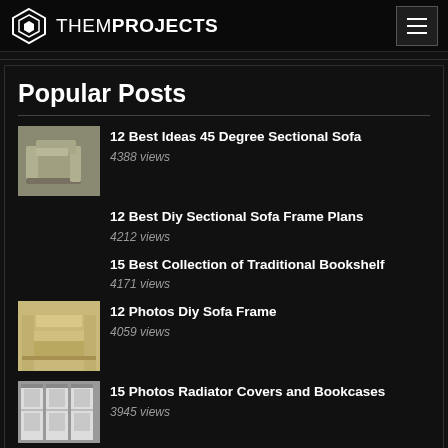THEMPROJECTS
Popular Posts
12 Best Ideas 45 Degree Sectional Sofa
4388 views
12 Best Diy Sectional Sofa Frame Plans
4212 views
15 Best Collection of Traditional Bookshelf
4171 views
12 Photos Diy Sofa Frame
4059 views
15 Photos Radiator Covers and Bookcases
3945 views